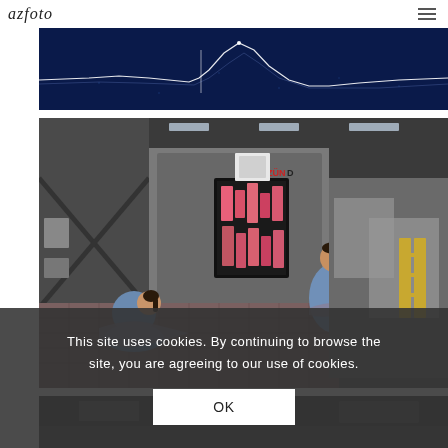azfoto (logo)
[Figure (photo): Abstract blue waveform photo — white light wave on dark navy blue background]
[Figure (photo): Factory/workshop photo — two workers in blue uniforms working on large fabric pieces on an industrial cutting table; a ZÜND cutting machine visible in background with a bright pink abstract artwork displayed on a screen]
This site uses cookies. By continuing to browse the site, you are agreeing to our use of cookies.
OK